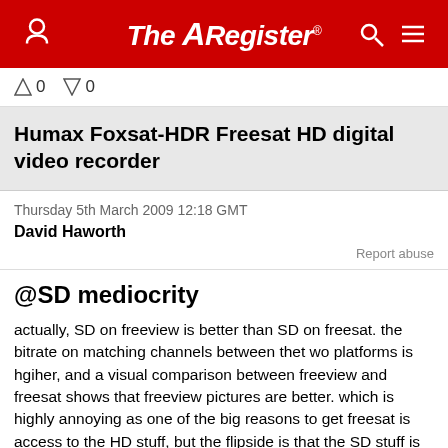The Register
↑ 0   ↓ 0
Humax Foxsat-HDR Freesat HD digital video recorder
Thursday 5th March 2009 12:18 GMT
David Haworth
Report abuse
@SD mediocrity
actually, SD on freeview is better than SD on freesat. the bitrate on matching channels between thet wo platforms is hgiher, and a visual comparison between freeview and freesat shows that freeview pictures are better. which is highly annoying as one of the big reasons to get freesat is access to the HD stuff, but the flipside is that the SD stuff is worse?!